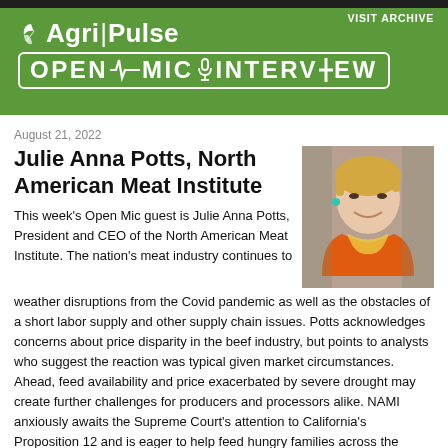Agri Pulse OPEN MIC INTERVIEW — VISIT ARCHIVE
August 21, 2022
Julie Anna Potts, North American Meat Institute
[Figure (photo): Professional headshot of Julie Anna Potts, a woman with short blonde hair wearing an orange top and colorful scarf, smiling.]
This week's Open Mic guest is Julie Anna Potts, President and CEO of the North American Meat Institute. The nation's meat industry continues to weather disruptions from the Covid pandemic as well as the obstacles of a short labor supply and other supply chain issues.  Potts acknowledges concerns about price disparity in the beef industry, but points to analysts who suggest the reaction was typical given market circumstances.  Ahead, feed availability and price exacerbated by severe drought may create further challenges for producers and processors alike. NAMI anxiously awaits the Supreme Court's attention to California's Proposition 12 and is eager to help feed hungry families across the nation with food donations.